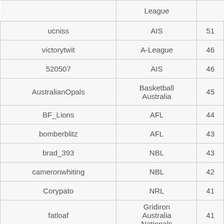|  | League |  |
| --- | --- | --- |
| ucniss | AIS | 51 |
| victorytwit | A-League | 46 |
| 520507 | AIS | 46 |
| AustralianOpals | Basketball Australia | 45 |
| BF_Lions | AFL | 44 |
| bomberblitz | AFL | 43 |
| brad_393 | NBL | 43 |
| cameronwhiting | NBL | 42 |
| Corypato | NRL | 41 |
| fatloaf | Gridiron Australia Nationals | 41 |
| gcbluetongues | AIHL | 41 |